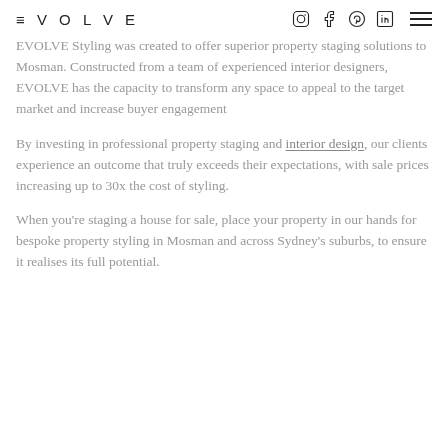EVOLVE [Instagram] [Facebook] [Pinterest] [LinkedIn] [Menu]
EVOLVE Styling was created to offer superior property staging solutions to Mosman. Constructed from a team of experienced interior designers, EVOLVE has the capacity to transform any space to appeal to the target market and increase buyer engagement
By investing in professional property staging and interior design, our clients experience an outcome that truly exceeds their expectations, with sale prices increasing up to 30x the cost of styling.
When you're staging a house for sale, place your property in our hands for bespoke property styling in Mosman and across Sydney's suburbs, to ensure it realises its full potential.